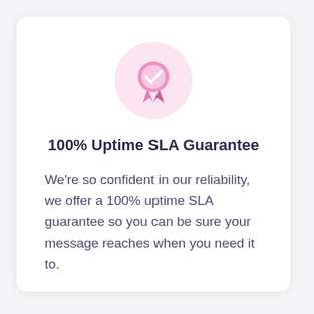[Figure (illustration): Pink circle containing a medal/badge icon with a checkmark and two ribbon tails in pink/purple colors]
100% Uptime SLA Guarantee
We're so confident in our reliability, we offer a 100% uptime SLA guarantee so you can be sure your message reaches when you need it to.